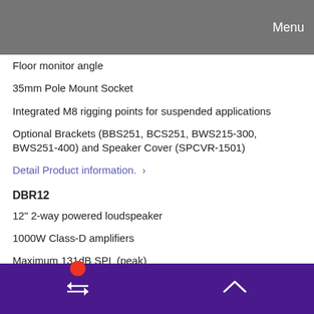Menu
Floor monitor angle
35mm Pole Mount Socket
Integrated M8 rigging points for suspended applications
Optional Brackets (BBS251, BCS251, BWS215-300, BWS251-400) and Speaker Cover (SPCVR-1501)
Detail Product information.  >
DBR12
12" 2-way powered loudspeaker
1000W Class-D amplifiers
Maximum 131dB SPL (peak)
D-CONTOUR multi band dynamic processor
Easy-to-use Onboard 2-Channel Mixer